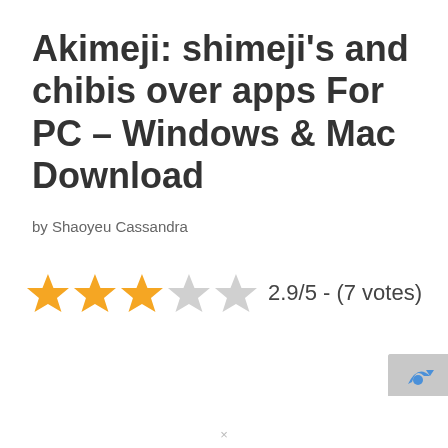Akimeji: shimeji's and chibis over apps For PC – Windows & Mac Download
by Shaoyeu Cassandra
[Figure (infographic): Star rating display showing 3 filled orange stars and 2 empty grey stars, with text '2.9/5 - (7 votes)']
[Figure (other): Partial reCAPTCHA badge/logo in bottom-right corner]